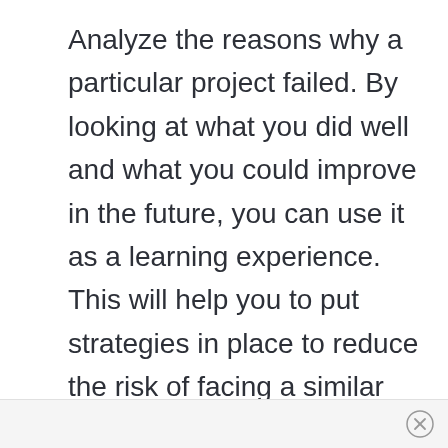Analyze the reasons why a particular project failed. By looking at what you did well and what you could improve in the future, you can use it as a learning experience. This will help you to put strategies in place to reduce the risk of facing a similar failure again in the future.
[Figure (other): Close/dismiss button (circle with X) in the bottom-right footer bar]